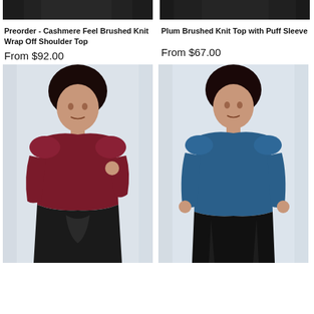[Figure (photo): Cropped top portion of model wearing dark fabric top, left product]
[Figure (photo): Cropped top portion of model wearing dark top, right product]
Preorder - Cashmere Feel Brushed Knit Wrap Off Shoulder Top
From $92.00
Plum Brushed Knit Top with Puff Sleeve
From $67.00
[Figure (photo): Full model photo wearing dark maroon/burgundy brushed knit puff sleeve top with black ruched skirt, light grey background]
[Figure (photo): Full model photo wearing teal/blue brushed knit puff sleeve top with black leather pants, light grey background]